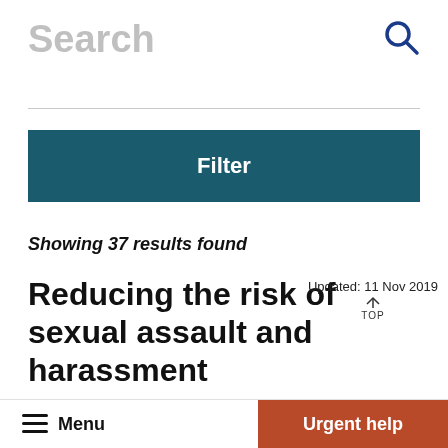Search
Showing 37 results found
Reducing the risk of sexual assault and harassment
Updated: 11 Nov 2019
Sexual assault and harassment can happen
Menu | Urgent help